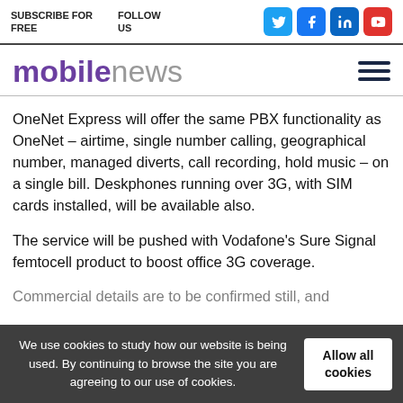SUBSCRIBE FOR FREE   FOLLOW US
[Figure (logo): mobilenews logo with purple 'mobile' and grey 'news' text, plus hamburger menu icon]
OneNet Express will offer the same PBX functionality as OneNet – airtime, single number calling, geographical number, managed diverts, call recording, hold music – on a single bill. Deskphones running over 3G, with SIM cards installed, will be available also.
The service will be pushed with Vodafone's Sure Signal femtocell product to boost office 3G coverage.
Commercial details are to be confirmed still, and
We use cookies to study how our website is being used. By continuing to browse the site you are agreeing to our use of cookies.